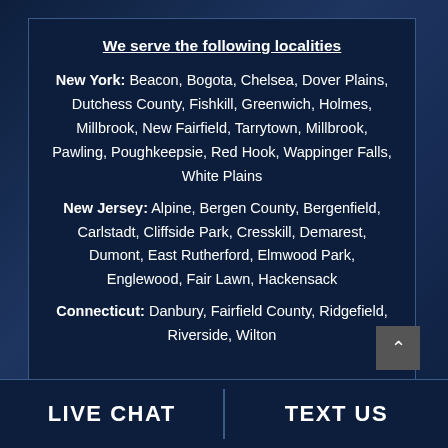We serve the following localities
New York: Beacon, Bogota, Chelsea, Dover Plains, Dutchess County, Fishkill, Greenwich, Holmes, Millbrook, New Fairfield, Tarrytown, Millbrook, Pawling, Poughkeepsie, Red Hook, Wappinger Falls, White Plains
New Jersey: Alpine, Bergen County, Bergenfield, Carlstadt, Cliffside Park, Cresskill, Demarest, Dumont, East Rutherford, Elmwood Park, Englewood, Fair Lawn, Hackensack
Connecticut: Danbury, Fairfield County, Ridgefield, Riverside, Wilton
LIVE CHAT | TEXT US